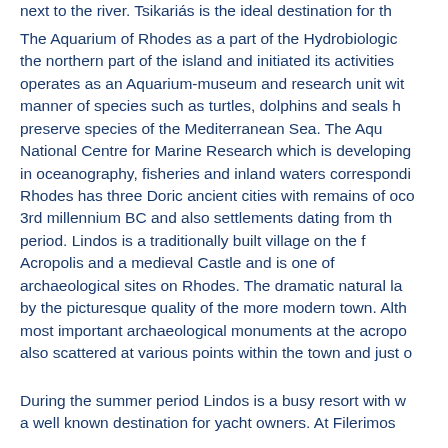next to the river. Tsikariás is the ideal destination for th...
The Aquarium of Rhodes as a part of the Hydrobiologic... the northern part of the island and initiated its activities... operates as an Aquarium-museum and research unit wit... manner of species such as turtles, dolphins and seals h... preserve species of the Mediterranean Sea. The Aqu... National Centre for Marine Research which is developing... in oceanography, fisheries and inland waters correspondi...
Rhodes has three Doric ancient cities with remains of oco... 3rd millennium BC and also settlements dating from th... period. Lindos is a traditionally built village on the f... Acropolis and a medieval Castle and is one of ... archaeological sites on Rhodes. The dramatic natural la... by the picturesque quality of the more modern town. Alth... most important archaeological monuments at the acropo... also scattered at various points within the town and just o...
During the summer period Lindos is a busy resort with w... a well known destination for yacht owners. At Filerimos...